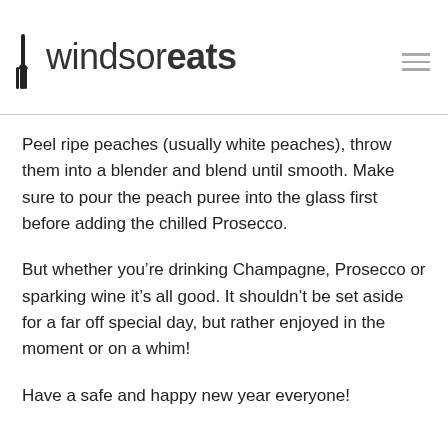windsoréats
Peel ripe peaches (usually white peaches), throw them into a blender and blend until smooth. Make sure to pour the peach puree into the glass first before adding the chilled Prosecco.
But whether you're drinking Champagne, Prosecco or sparking wine it's all good. It shouldn't be set aside for a far off special day, but rather enjoyed in the moment or on a whim!
Have a safe and happy new year everyone!